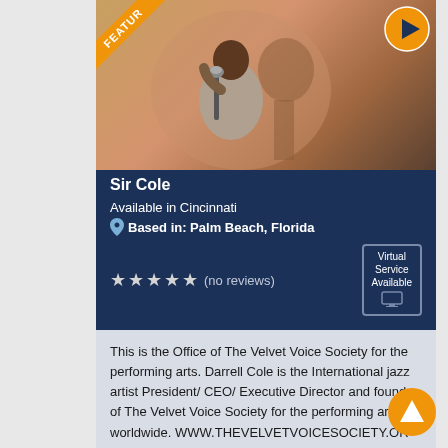[Figure (photo): Photo of Sir Cole (Darrell Cole), a jazz artist in a suit holding a microphone, with a featured ribbon in top-left and a play button in top-right]
Sir Cole
Available in Cincinnati
Based in: Palm Beach, Florida
★★★★★ (no reviews)
Virtual Service Available
This is the Office of The Velvet Voice Society for the performing arts. Darrell Cole is the International jazz artist President/ CEO/ Executive Director and founder of The Velvet Voice Society for the performing arts worldwide. WWW.THEVELVETVOICESOCIETY.OR
View Full Profile